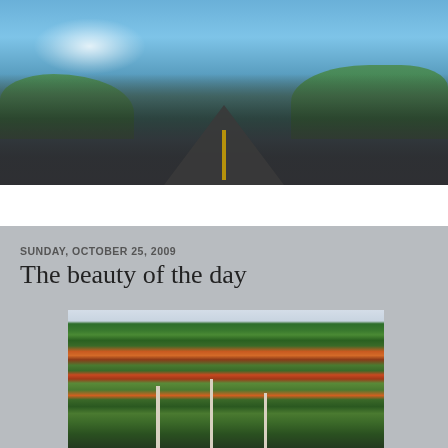early morning peace
breath in! breath out! good!
Home
SUNDAY, OCTOBER 25, 2009
The beauty of the day
[Figure (photo): Autumn forest scene with colorful trees showing fall foliage in green, orange, and red against a light sky]